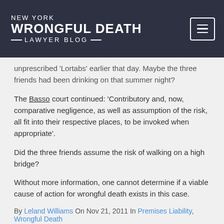NEW YORK WRONGFUL DEATH LAWYER BLOG
unprescribed 'Lortabs' earlier that day. Maybe the three friends had been drinking on that summer night?
The Basso court continued: 'Contributory and, now, comparative negligence, as well as assumption of the risk, all fit into their respective places, to be invoked when appropriate'.
Did the three friends assume the risk of walking on a high bridge?
Without more information, one cannot determine if a viable cause of action for wrongful death exists in this case.
By Leland Williams On Nov 21, 2011 In Premises Liability, Wrongful Death